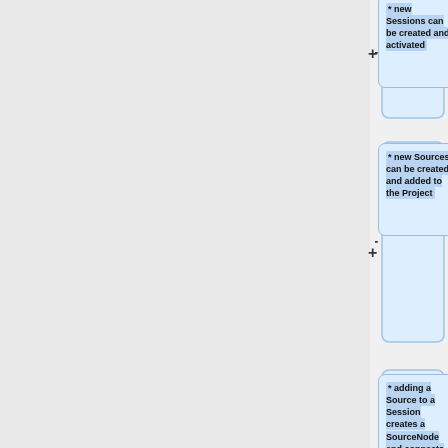[Figure (flowchart): Flowchart diagram showing a series of expandable nodes (with + icons) on the right side. Each node is a rounded rectangle with light blue background containing bullet-point text describing session/source operations. Node 1 (partially visible at top): '* new Sessions can be created and activated'. Node 2: '* new Sources can be created and added to the Project'. Node 3: '* adding a Source to a Session creates a SourceNode and connects it'. Node 4: '* <tt>Session.getNodes(type)</tt> returns a list of nodes of the desired type'. Node 5 (partially visible): '* <tt>Session.addNode(node)</tt>...']